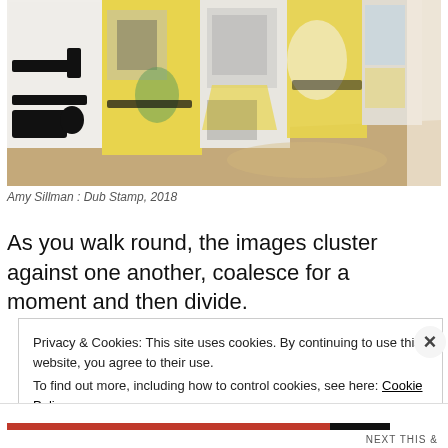[Figure (photo): Gallery installation photo showing large-scale printed artworks hung along a curved wall. Images feature bold black graphic figures on yellow and white backgrounds. Wooden floor visible.]
Amy Sillman : Dub Stamp, 2018
As you walk round, the images cluster against one another, coalesce for a moment and then divide.
Privacy & Cookies: This site uses cookies. By continuing to use this website, you agree to their use.
To find out more, including how to control cookies, see here: Cookie Policy
Close and accept